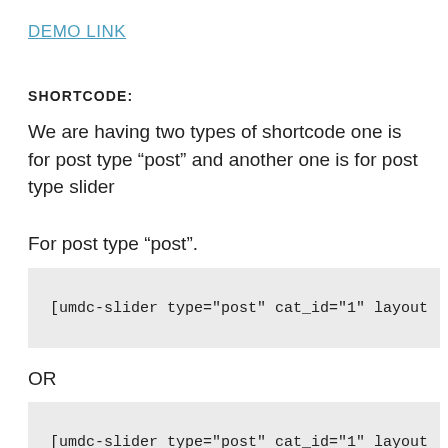DEMO LINK
SHORTCODE:
We are having two types of shortcode one is for post type “post” and another one is for post type slider
For post type “post”.
[umdc-slider type="post" cat_id="1" layout
OR
[umdc-slider type="post" cat_id="1" layout